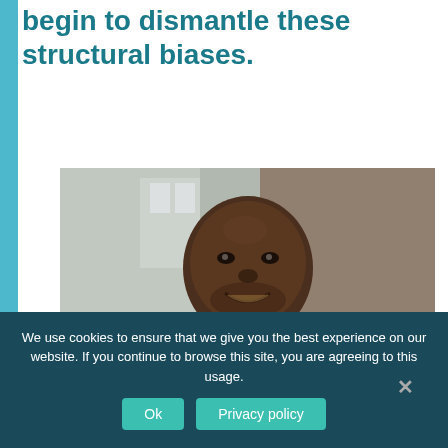begin to dismantle these structural biases.
[Figure (photo): Portrait photo of a smiling Black man, bald head, with a blurred background showing a building exterior.]
We use cookies to ensure that we give you the best experience on our website. If you continue to browse this site, you are agreeing to this usage.
Ok
Privacy policy